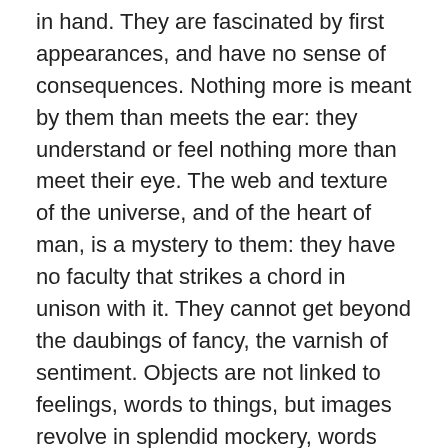in hand. They are fascinated by first appearances, and have no sense of consequences. Nothing more is meant by them than meets the ear: they understand or feel nothing more than meet their eye. The web and texture of the universe, and of the heart of man, is a mystery to them: they have no faculty that strikes a chord in unison with it. They cannot get beyond the daubings of fancy, the varnish of sentiment. Objects are not linked to feelings, words to things, but images revolve in splendid mockery, words represent themselves in their strange rhapsodies. The categories of such a mind are pride and ignorance -- pride in outside show, to which they sacrifice everything, and ignorance of the true worth and hidden structure both of words and things. With a sovereign contempt for what is familiar and natural, they are the slaves of vulgar affectation -- of a routine of high-flown phrases. Scorning to imitate realities, they are unable to invent anything